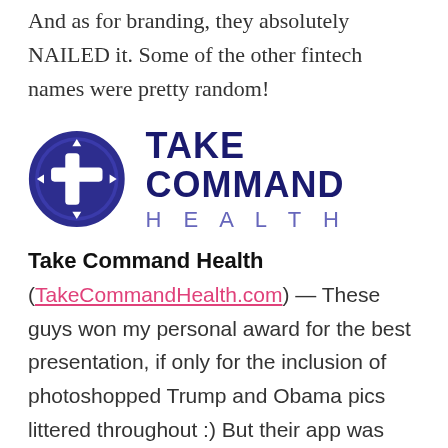And as for branding, they absolutely NAILED it. Some of the other fintech names were pretty random!
[Figure (logo): Take Command Health logo: a dark navy blue circle with a white cross/plus icon with directional arrows, beside bold dark navy text 'TAKE COMMAND' and lighter purple spaced text 'H E A L T H']
Take Command Health
(TakeCommandHealth.com) — These guys won my personal award for the best presentation, if only for the inclusion of photoshopped Trump and Obama pics littered throughout :) But their app was def. no joke. In a nutshell, Take Command helps you easily find the best option